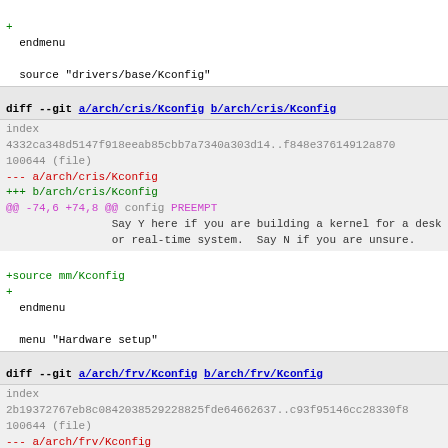+ endmenu
source "drivers/base/Kconfig"
diff --git a/arch/cris/Kconfig b/arch/cris/Kconfig
index 4332ca348d5147f918eeab85cbb7a7340a303d14..f848e37614912a870 100644 (file)
--- a/arch/cris/Kconfig
+++ b/arch/cris/Kconfig
@@ -74,6 +74,8 @@ config PREEMPT
		Say Y here if you are building a kernel for a desk
		or real-time system.  Say N if you are unsure.
+source mm/Kconfig
+
 endmenu

 menu "Hardware setup"
diff --git a/arch/frv/Kconfig b/arch/frv/Kconfig
index 2b19372767eb8c0842038529228825fde64662637..c93f95146cc28330f8 100644 (file)
--- a/arch/frv/Kconfig
+++ b/arch/frv/Kconfig
@@ -74,6 +74,8 @@ config HIGHPTE
		with a lot of RAM, this can be wasteful of preciou
		Setting this option will put user-space page table